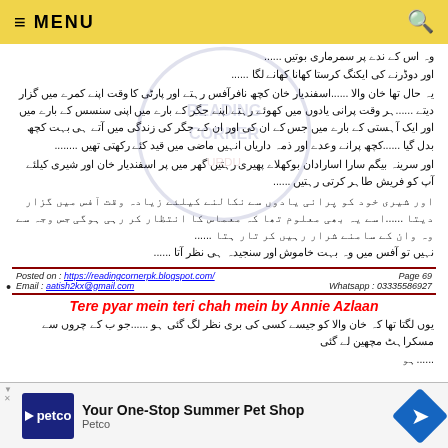≡ MENU
Urdu prose text (RTL) - multiple paragraphs of Urdu fiction content
Posted on : https://readingcornerpk.blogspot.com/  Page 69  Email : aatish2kx@gmail.com  Whatsapp : 03335586927
Tere pyar mein teri chah mein by Annie Azlaan
Urdu prose continuation text (RTL)
[Figure (infographic): Petco advertisement banner: Your One-Stop Summer Pet Shop]